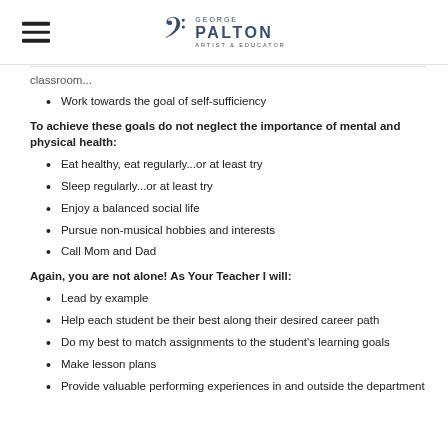GEORGE PALTON ARTIST & EDUCATOR
classroom...
Work towards the goal of self-sufficiency
To achieve these goals do not neglect the importance of mental and physical health:
Eat healthy, eat regularly...or at least try
Sleep regularly...or at least try
Enjoy a balanced social life
Pursue non-musical hobbies and interests
Call Mom and Dad
Again, you are not alone!  As Your Teacher I will:
Lead by example
Help each student be their best along their desired career path
Do my best to match assignments to the student's learning goals
Make lesson plans
Provide valuable performing experiences in and outside the department